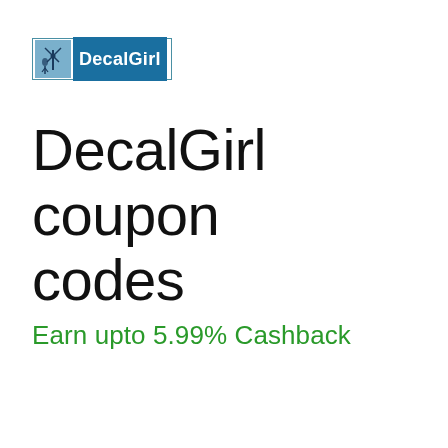[Figure (logo): DecalGirl logo with blue bordered box containing windmill graphic and 'DecalGirl' text on blue background]
DecalGirl coupon codes
Earn upto 5.99% Cashback